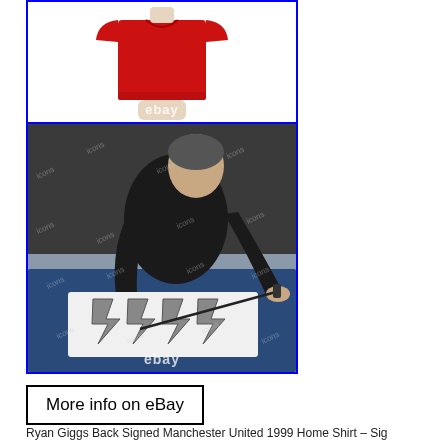[Figure (photo): Top image showing a red Manchester United home shirt displayed on a mannequin torso, with eBay watermark, framed with blue border.]
[Figure (photo): Photo of Ryan Giggs signing a Manchester United shirt on a table covered with blue cloth, with multiple 'icons' watermarks repeated across image and eBay watermark at bottom center, framed with blue border.]
More info on eBay
Ryan Giggs Back Signed Manchester United 1999 Home Shirt – Sig